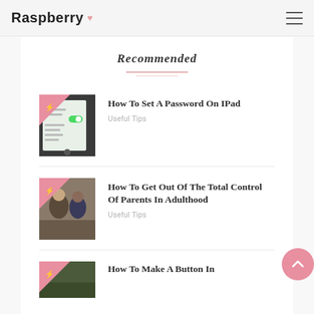Raspberry
Recommended
[Figure (screenshot): Thumbnail image of iPad showing settings screen with password option, with pink triangle badge overlay]
How To Set A Password On IPad
Useful Tips
[Figure (photo): Thumbnail image of two people in conversation, with pink triangle badge overlay]
How To Get Out Of The Total Control Of Parents In Adulthood
Useful Tips
[Figure (photo): Thumbnail image with green/dark background, with pink triangle badge overlay]
How To Make A Button In